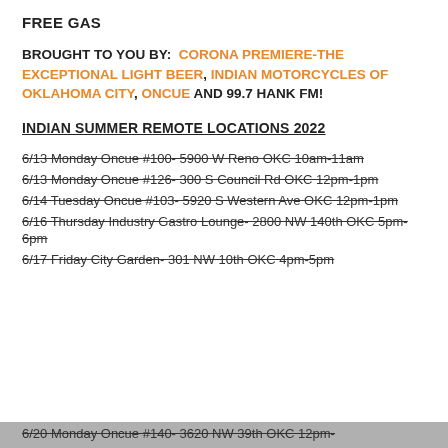FREE GAS
BROUGHT TO YOU BY: CORONA PREMIERE-THE EXCEPTIONAL LIGHT BEER, INDIAN MOTORCYCLES OF OKLAHOMA CITY, ONCUE AND 99.7 HANK FM!
INDIAN SUMMER REMOTE LOCATIONS 2022
6/13 Monday Oncue #100- 5900 W Reno OKC 10am-11am
6/13 Monday Oncue #126- 300 S Council Rd OKC 12pm-1pm
6/14 Tuesday Oncue #103- 5920 S Western Ave OKC 12pm-1pm
6/16 Thursday Industry Gastro Lounge- 2800 NW 140th OKC 5pm-6pm
6/17 Friday City Garden- 301 NW 10th OKC 4pm-5pm
6/20 Monday Oncue #140- 3620 NW 39th OKC 12pm-